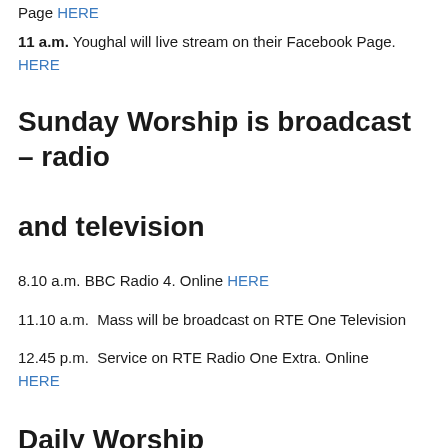Page HERE
11 a.m. Youghal will live stream on their Facebook Page. HERE
Sunday Worship is broadcast – radio and television
8.10 a.m. BBC Radio 4. Online HERE
11.10 a.m.  Mass will be broadcast on RTE One Television
12.45 p.m.  Service on RTE Radio One Extra. Online HERE
Daily Worship